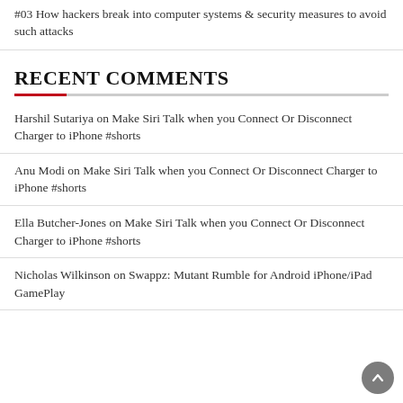#03 How hackers break into computer systems & security measures to avoid such attacks
RECENT COMMENTS
Harshil Sutariya on Make Siri Talk when you Connect Or Disconnect Charger to iPhone #shorts
Anu Modi on Make Siri Talk when you Connect Or Disconnect Charger to iPhone #shorts
Ella Butcher-Jones on Make Siri Talk when you Connect Or Disconnect Charger to iPhone #shorts
Nicholas Wilkinson on Swappz: Mutant Rumble for Android iPhone/iPad GamePlay